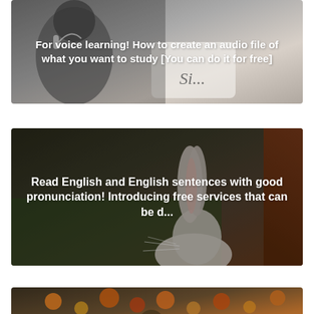[Figure (photo): Article card 1: person with earphones studying, with bold white text overlay about voice learning and creating audio files]
For voice learning! How to create an audio file of what you want to study [You can do it for free]
[Figure (photo): Article card 2: close-up of a rabbit/bunny with dark blurred background, with bold white text overlay about reading English sentences with good pronunciation]
Read English and English sentences with good pronunciation! Introducing free services that can be d...
[Figure (photo): Article card 3: partially visible image with autumn leaves and a person, partially cut off at bottom of page]